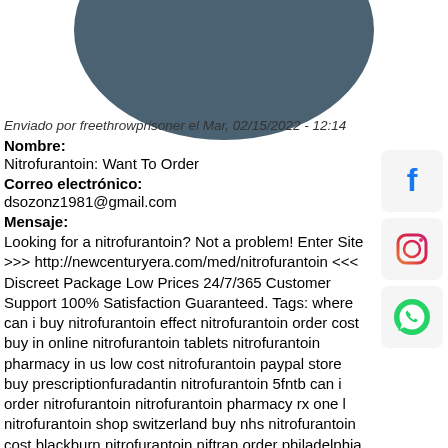[Figure (illustration): Dark teal/slate colored semicircle or circle graphic at the top of the page]
Enviado por freethrowprisoner el Mar, 02/15/2022 - 12:14
Nombre:
Nitrofurantoin: Want To Order
Correo electrónico:
dsozonz1981@gmail.com
Mensaje:
Looking for a nitrofurantoin? Not a problem! Enter Site >>> http://newcenturyera.com/med/nitrofurantoin <<< Discreet Package Low Prices 24/7/365 Customer Support 100% Satisfaction Guaranteed. Tags: where can i buy nitrofurantoin effect nitrofurantoin order cost buy in online nitrofurantoin tablets nitrofurantoin pharmacy in us low cost nitrofurantoin paypal store buy prescriptionfuradantin nitrofurantoin 5fntb can i order nitrofurantoin nitrofurantoin pharmacy rx one l nitrofurantoin shop switzerland buy nhs nitrofurantoin cost blackburn nitrofurantoin niftran order philadelphia nitrofurantoin order jcb derivatives nitrofurantoin order net kaufen nitrofurantoin 100mg 300 cost canada purchase nitrofurantoin in internet cheapest need nitrofurantoin pharmaceutical pharmacy bangor want to purchase nitrofurantoin
[Figure (logo): Facebook logo icon]
[Figure (logo): Instagram logo icon]
[Figure (logo): WhatsApp logo icon]